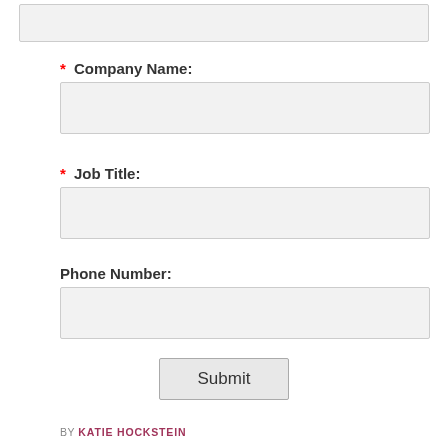[input box at top — partial, cropped]
* Company Name:
* Job Title:
Phone Number:
Submit
BY KATIE HOCKSTEIN